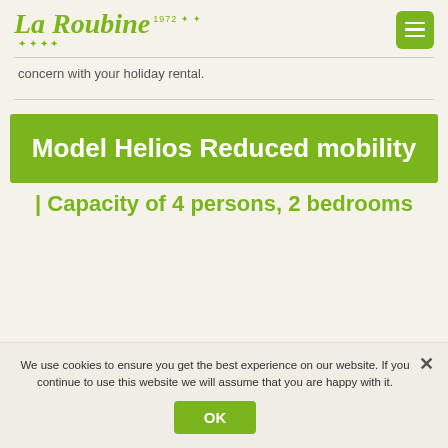La Roubine 1972 ★ ★
concern with your holiday rental.
Model Helios Reduced mobility
| Capacity of 4 persons, 2 bedrooms
We use cookies to ensure you get the best experience on our website. If you continue to use this website we will assume that you are happy with it.